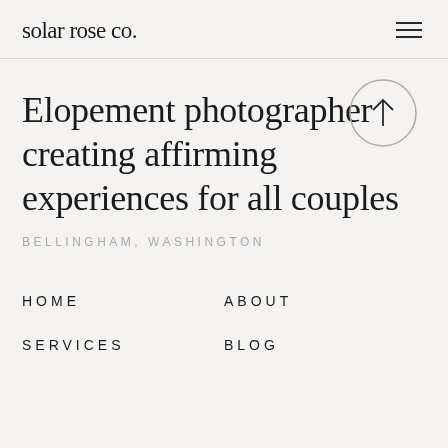solar rose co.
[Figure (illustration): Circular arrow button pointing upward (scroll-to-top button), outlined circle with an upward arrow inside]
Elopement photographer creating affirming experiences for all couples
BELLINGHAM, WASHINGTON
HOME
ABOUT
SERVICES
BLOG